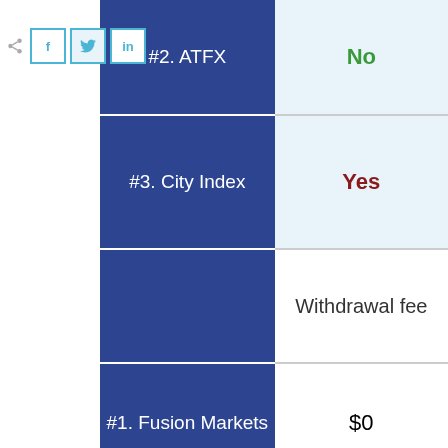| Broker | Value |
| --- | --- |
| #2. ATFX | No |
| #3. City Index | Yes |
|  | Withdrawal fee |
| #1. Fusion Markets | $0 |
| #2. ATFX | $0 |